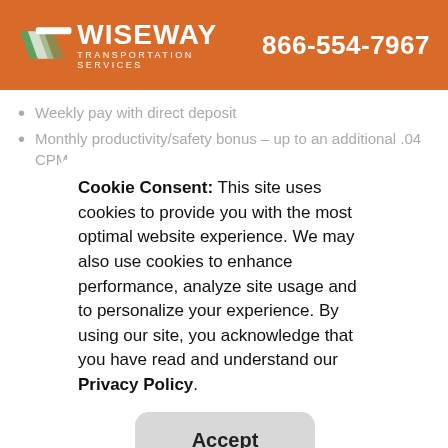[Figure (logo): Wiseway Transportation Services logo with orange background, truck/road graphic, and phone number 866-554-7967]
Weekly pay with direct deposit
Monthly productivity/safety bonus – up to an additional .04 CPM
Cookie Consent: This site uses cookies to provide you with the most optimal website experience. We may also use cookies to enhance performance, analyze site usage and to personalize your experience. By using our site, you acknowledge that you have read and understand our Privacy Policy.
Accept